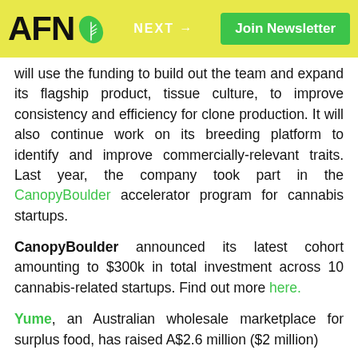AFN | NEXT → | Join Newsletter
will use the funding to build out the team and expand its flagship product, tissue culture, to improve consistency and efficiency for clone production. It will also continue work on its breeding platform to identify and improve commercially-relevant traits. Last year, the company took part in the CanopyBoulder accelerator program for cannabis startups.
CanopyBoulder announced its latest cohort amounting to $300k in total investment across 10 cannabis-related startups. Find out more here.
Yume, an Australian wholesale marketplace for surplus food, has raised A$2.6 million ($2 million)